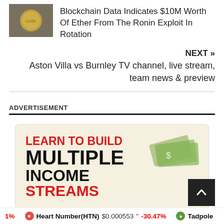[Figure (photo): Thumbnail image of a gold coin on dark fabric]
Blockchain Data Indicates $10M Worth Of Ether From The Ronin Exploit In Rotation
NEXT »
Aston Villa vs Burnley TV channel, live stream, team news & preview
ADVERTISEMENT
[Figure (illustration): Advertisement banner reading LEARN TO BUILD MULTIPLE INCOME STREAMS with money imagery]
Heart Number(HTN) $0.000553 -30.47% Tadpole